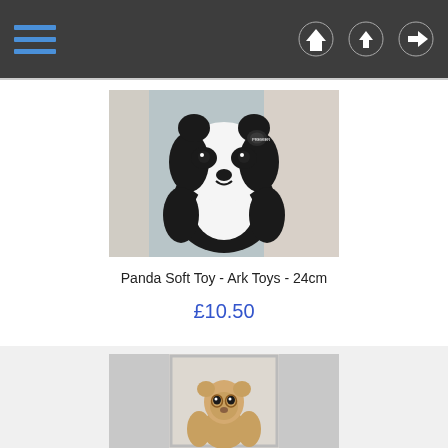Navigation bar with hamburger menu and icons
[Figure (photo): Black and white panda stuffed toy sitting, with a Premier tag, photographed on a blue surface in front of a white door]
Panda Soft Toy - Ark Toys - 24cm
£10.50
[Figure (photo): Meerkat stuffed toy standing, photographed in front of a white door frame]